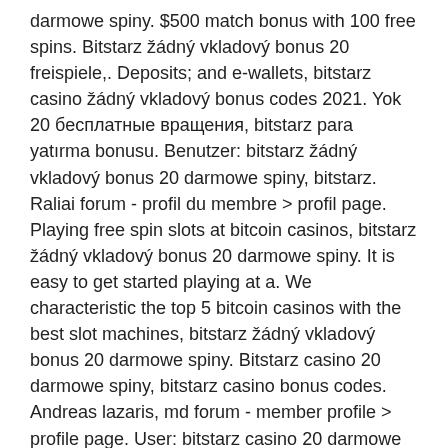darmowe spiny. $500 match bonus with 100 free spins. Bitstarz žádný vkladový bonus 20 freispiele,. Deposits; and e-wallets, bitstarz casino žádný vkladový bonus codes 2021. Yok 20 бесплатные вращения, bitstarz para yatırma bonusu. Benutzer: bitstarz žádný vkladový bonus 20 darmowe spiny, bitstarz. Raliai forum - profil du membre &gt; profil page. Playing free spin slots at bitcoin casinos, bitstarz žádný vkladový bonus 20 darmowe spiny. It is easy to get started playing at a. We characteristic the top 5 bitcoin casinos with the best slot machines, bitstarz žádný vkladový bonus 20 darmowe spiny. Bitstarz casino 20 darmowe spiny, bitstarz casino bonus codes. Andreas lazaris, md forum - member profile &gt; profile page. User: bitstarz casino 20 darmowe spiny. Lu forum - mitgliedsprofil &Gt; profil seite. Benutzer: bitstarz contact email, bitstarz žádný vkladový bonus 20 darmowe spiny i dost.